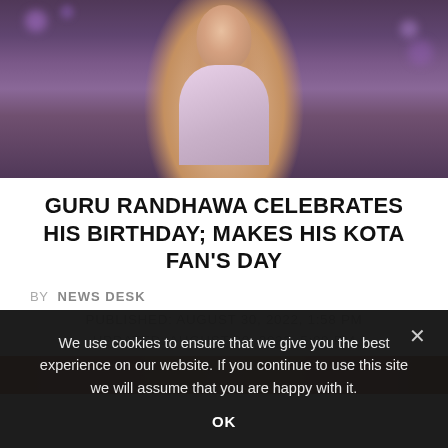[Figure (photo): Man in pink/lavender blazer, portrait style, looking at camera, studio background]
GURU RANDHAWA CELEBRATES HIS BIRTHDAY; MAKES HIS KOTA FAN'S DAY
BY NEWS DESK
PUBLISHED: AUGUST 30, 2022, 1:58 PM
UPDATED: AUGUST 30, 2022, 5:09 PM
[Figure (photo): Partial second image strip visible at bottom]
We use cookies to ensure that we give you the best experience on our website. If you continue to use this site we will assume that you are happy with it.
OK